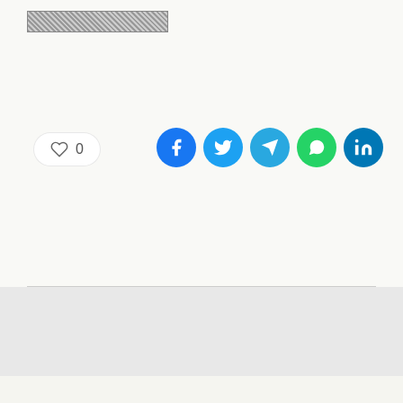[Figure (other): Redacted/censored text bar at top of page shown as crosshatch pattern block]
[Figure (other): Like button with heart icon showing count 0, and social media share buttons (Facebook, Twitter, Telegram, WhatsApp, LinkedIn)]